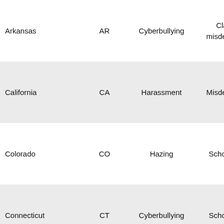| State | Abbr | Type | Penalty | Reference |
| --- | --- | --- | --- | --- |
| Arkansas | AR | Cyberbullying | Class B misdemeanor | Arkan Co Annota 71- |
| California | CA | Harassment | Misdemeanor | Cali Code Code - 65 |
| Colorado | CO | Hazing | School Only | Colo Rev Statute 9- |
| Connecticut | CT | Cyberbullying | School Only | Conn Gen Statute 22 |